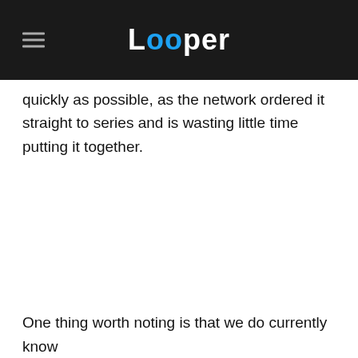Looper
quickly as possible, as the network ordered it straight to series and is wasting little time putting it together.
One thing worth noting is that we do currently know